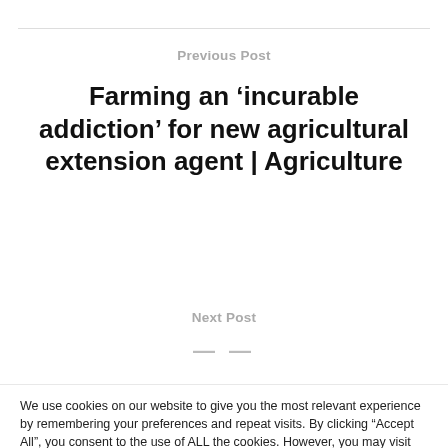Previous Post
Farming an ‘incurable addiction’ for new agricultural extension agent | Agriculture
Next Post
We use cookies on our website to give you the most relevant experience by remembering your preferences and repeat visits. By clicking “Accept All”, you consent to the use of ALL the cookies. However, you may visit "Cookie Settings" to provide a controlled consent.